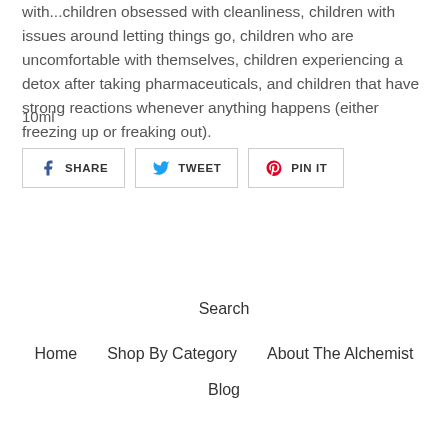with...children obsessed with cleanliness, children with issues around letting things go, children who are uncomfortable with themselves, children experiencing a detox after taking pharmaceuticals, and children that have strong reactions whenever anything happens (either freezing up or freaking out).
10ml
[Figure (other): Social sharing buttons: SHARE (Facebook), TWEET (Twitter), PIN IT (Pinterest)]
Search
Home
Shop By Category
About The Alchemist
Blog